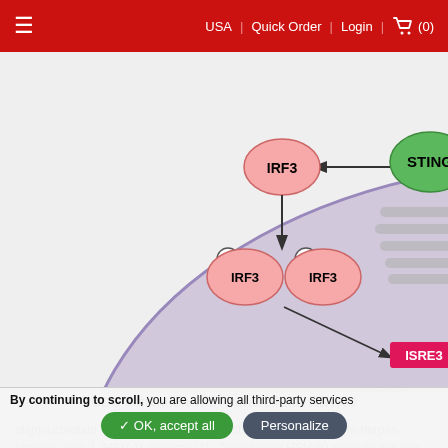USA | Quick Order | Login | (0)
[Figure (schematic): Scientific diagram showing CDS activation pathway with intracellular HSV-60. Shows IRF3 proteins (pink ovals), STING dimers (green), phosphorylated IRF3 dimers, ISRE3 element driving Type I IFNs expression in the nucleus, and IFI16 (orange) with dashed arrow connections indicating signaling pathway.]
CDS activation with intracellular HSV-60
oligonucleotide containing viral DNA motifs that derive from the herpes simplex virus 1 (HSV-1) genome [1]. Transfected HSV-60 potently induces an immune response following recognition by the cytosolic DNA sensors (CDSs), DEAD-box protein 41 (DDX41) [2] or interferon γ-inducible protein 16 (IFI16) [1]. IFI16 induces innate immune responses against
By continuing to scroll, you are allowing all third-party services
✓ OK, accept all   Personalize